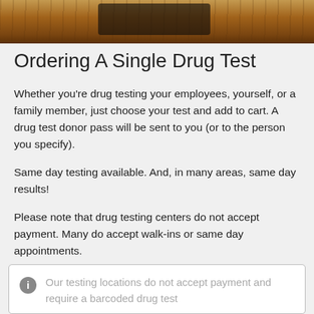[Figure (photo): Top portion of a photo showing wooden surface/chalkboard with dark patch in center]
Ordering A Single Drug Test
Whether you’re drug testing your employees, yourself, or a family member, just choose your test and add to cart. A drug test donor pass will be sent to you (or to the person you specify).
Same day testing available. And, in many areas, same day results!
Please note that drug testing centers do not accept payment. Many do accept walk-ins or same day appointments.
Our testing locations do not accept payment and require a barcoded drug test